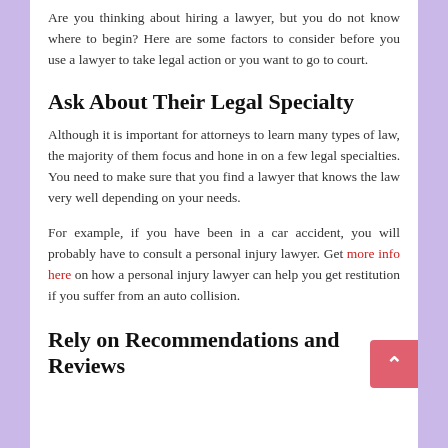Are you thinking about hiring a lawyer, but you do not know where to begin? Here are some factors to consider before you use a lawyer to take legal action or you want to go to court.
Ask About Their Legal Specialty
Although it is important for attorneys to learn many types of law, the majority of them focus and hone in on a few legal specialties. You need to make sure that you find a lawyer that knows the law very well depending on your needs.
For example, if you have been in a car accident, you will probably have to consult a personal injury lawyer. Get more info here on how a personal injury lawyer can help you get restitution if you suffer from an auto collision.
Rely on Recommendations and Reviews